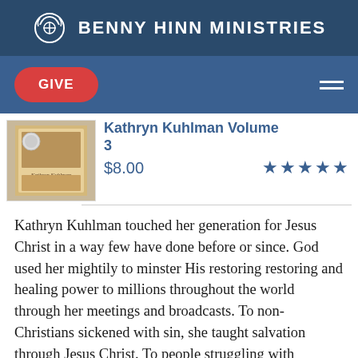BENNY HINN MINISTRIES
GIVE
Kathryn Kuhlman Volume 3
$8.00
[Figure (illustration): Book/DVD product image for Kathryn Kuhlman Volume 3]
Kathryn Kuhlman touched her generation for Jesus Christ in a way few have done before or since. God used her mightily to minster His restoring restoring and healing power to millions throughout the world through her meetings and broadcasts. To non-Christians sickened with sin, she taught salvation through Jesus Christ. To people struggling with